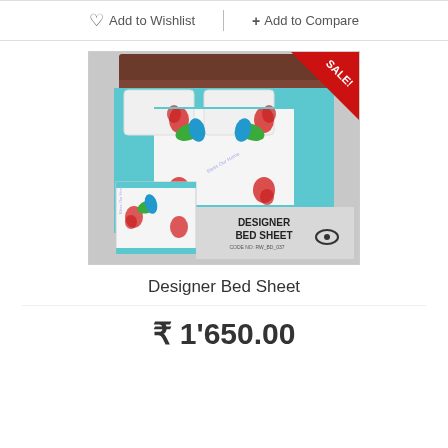Add to Wishlist
+ Add to Compare
[Figure (photo): Designer bed sheet product photo showing a teal/turquoise bed sheet with floral and peacock design pattern on a bed, with a zoomed insert and overlay text DESIGNER BED SHEET CODE NO: RW_BD_037 with a SALE! badge in the top right corner.]
Designer Bed Sheet
₹ 1'650.00